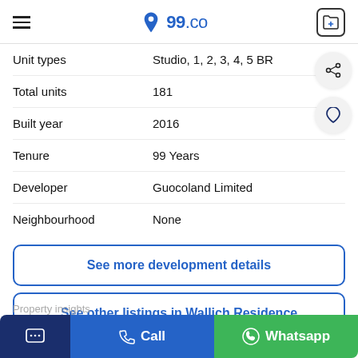99.co
| Field | Value |
| --- | --- |
| Unit types | Studio, 1, 2, 3, 4, 5 BR |
| Total units | 181 |
| Built year | 2016 |
| Tenure | 99 Years |
| Developer | Guocoland Limited |
| Neighbourhood | None |
See more development details
See other listings in Wallich Residence
Property insights